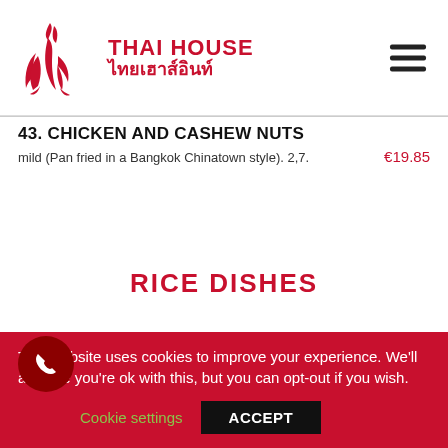[Figure (logo): Thai House restaurant logo with red stylized Thai dancer figure and text 'THAI HOUSE' and Thai script 'ไทยเฮาส์อินท์' in red]
43. CHICKEN AND CASHEW NUTS
mild (Pan fried in a Bangkok Chinatown style). 2,7.
€19.85
RICE DISHES
76. CHICKEN FRIED RICE
This website uses cookies to improve your experience. We'll assume you're ok with this, but you can opt-out if you wish.
Cookie settings
ACCEPT